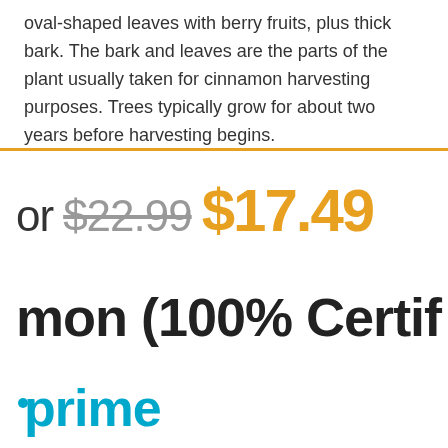oval-shaped leaves with berry fruits, plus thick bark. The bark and leaves are the parts of the plant usually taken for cinnamon harvesting purposes. Trees typically grow for about two years before harvesting begins.
or $22.99 $17.49
mon (100% Certif
prime